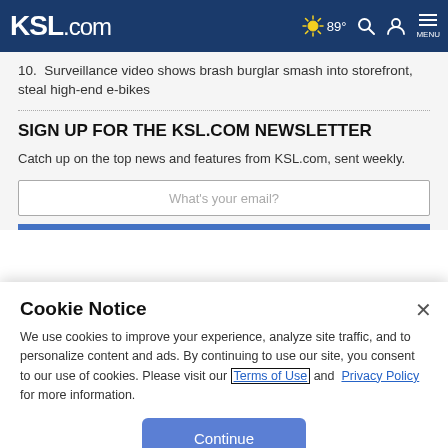KSL.com — 89° Search Account Menu
10. Surveillance video shows brash burglar smash into storefront, steal high-end e-bikes
SIGN UP FOR THE KSL.COM NEWSLETTER
Catch up on the top news and features from KSL.com, sent weekly.
What's your email?
Cookie Notice
We use cookies to improve your experience, analyze site traffic, and to personalize content and ads. By continuing to use our site, you consent to our use of cookies. Please visit our Terms of Use and Privacy Policy for more information.
Continue